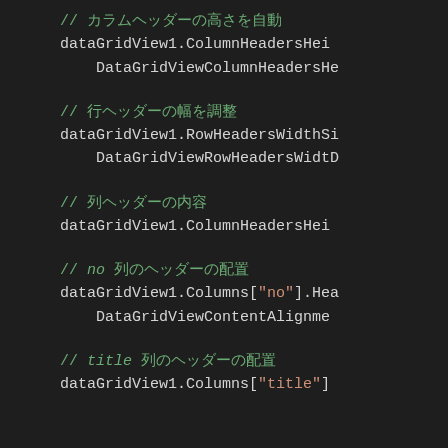// [Japanese characters]
dataGridView1.ColumnHeadersHei
DataGridViewColumnHeadersHe
// [Japanese characters]
dataGridView1.RowHeadersWidthSi
DataGridViewRowHeadersWidt
// [Japanese characters]
dataGridView1.ColumnHeadersHei
// no [Japanese characters]
dataGridView1.Columns["no"].Hea
DataGridViewContentAlignme
// title [Japanese characters]
dataGridView1.Columns["title"]